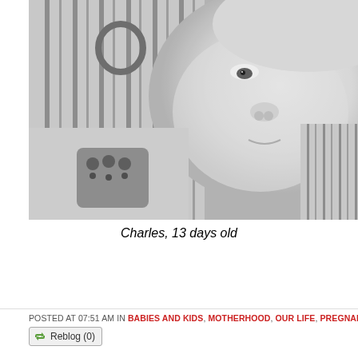[Figure (photo): Black and white close-up photograph of a newborn baby (Charles, 13 days old) lying in striped fabric/blanket, face turned slightly toward camera]
Charles, 13 days old
POSTED AT 07:51 AM IN BABIES AND KIDS, MOTHERHOOD, OUR LIFE, PREGNANCY | PE...
Reblog (0)